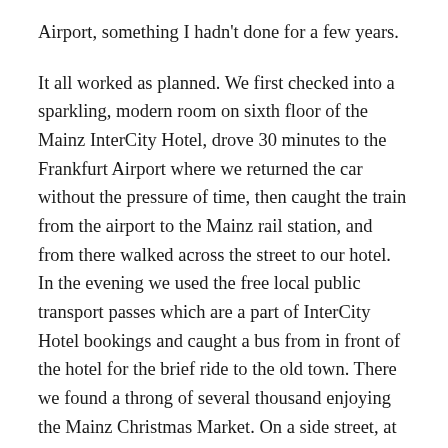Airport, something I hadn't done for a few years.
It all worked as planned. We first checked into a sparkling, modern room on sixth floor of the Mainz InterCity Hotel, drove 30 minutes to the Frankfurt Airport where we returned the car without the pressure of time, then caught the train from the airport to the Mainz rail station, and from there walked across the street to our hotel. In the evening we used the free local public transport passes which are a part of InterCity Hotel bookings and caught a bus from in front of the hotel for the brief ride to the old town. There we found a throng of several thousand enjoying the Mainz Christmas Market. On a side street, at the gemütlich Stadthaus-Schänke, we ate and drank well for €37, including beer and a shared dessert. In the morning we caught an ICE (InterCity Express) at 8:43 and 16 minutes later were in the airport's